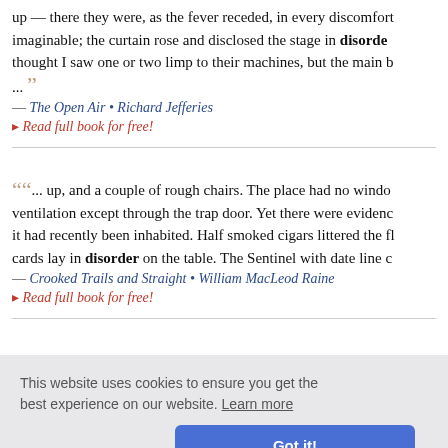... up — there they were, as the fever receded, in every discomfort imaginable; the curtain rose and disclosed the stage in disorder; thought I saw one or two limp to their machines, but the main b... ”
— The Open Air • Richard Jefferies
▸ Read full book for free!
““... up, and a couple of rough chairs. The place had no windo ventilation except through the trap door. Yet there were evidenc it had recently been inhabited. Half smoked cigars littered the fl cards lay in disorder on the table. The Sentinel with date line c
— Crooked Trails and Straight • William MacLeod Raine
▸ Read full book for free!
This website uses cookies to ensure you get the best experience on our website. Learn more
Got it!
ugh at the . But my fa led me; fo